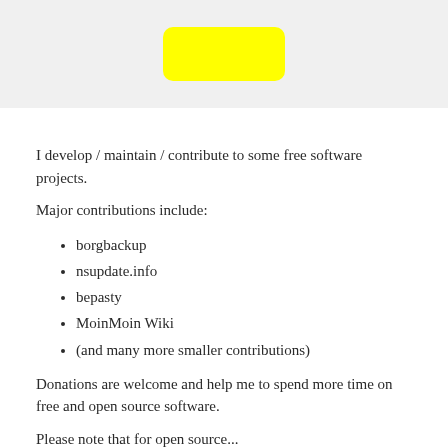[Figure (other): Yellow rounded rectangle on light grey background banner at top of page]
I develop / maintain / contribute to some free software projects.
Major contributions include:
borgbackup
nsupdate.info
bepasty
MoinMoin Wiki
(and many more smaller contributions)
Donations are welcome and help me to spend more time on free and open source software.
Please note that for open source...